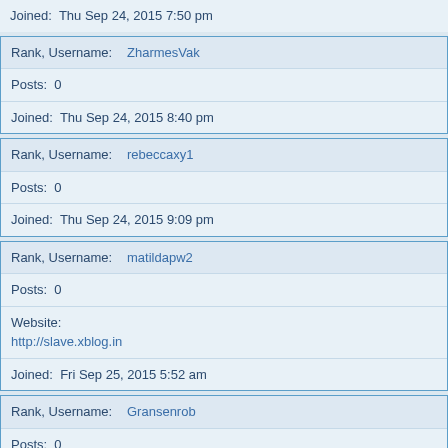Joined:  Thu Sep 24, 2015 7:50 pm
Rank, Username:   ZharmesVak
Posts:  0
Joined:  Thu Sep 24, 2015 8:40 pm
Rank, Username:   rebeccaxy1
Posts:  0
Joined:  Thu Sep 24, 2015 9:09 pm
Rank, Username:   matildapw2
Posts:  0
Website:
http://slave.xblog.in
Joined:  Fri Sep 25, 2015 5:52 am
Rank, Username:   Gransenrob
Posts:  0
Joined:  Fri Sep 25, 2015 12:40 pm
Rank, Username:   dillbrailiZew
Posts:  0
Website:
http://vixosig.vapr.cc/slushat-pesni-dispetchera/
Joined:  Fri Sep 25, 2015 1:02 pm